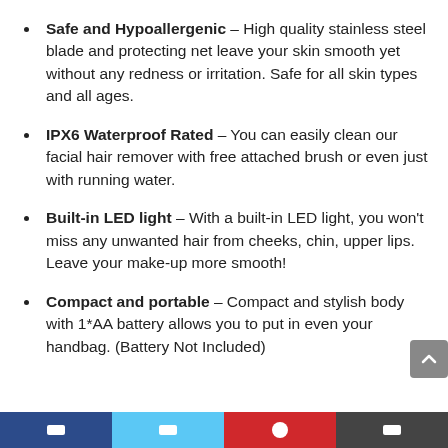Safe and Hypoallergenic – High quality stainless steel blade and protecting net leave your skin smooth yet without any redness or irritation. Safe for all skin types and all ages.
IPX6 Waterproof Rated – You can easily clean our facial hair remover with free attached brush or even just with running water.
Built-in LED light – With a built-in LED light, you won't miss any unwanted hair from cheeks, chin, upper lips. Leave your make-up more smooth!
Compact and portable – Compact and stylish body with 1*AA battery allows you to put in even your handbag. (Battery Not Included)